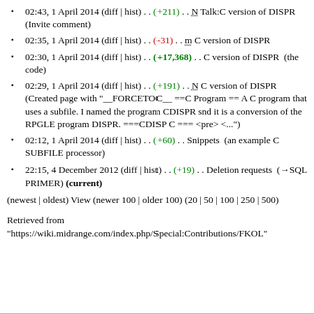02:43, 1 April 2014 (diff | hist) . . (+211) . . N Talk:C version of DISPR  (Invite comment)
02:35, 1 April 2014 (diff | hist) . . (-31) . . m C version of DISPR
02:30, 1 April 2014 (diff | hist) . . (+17,368) . . C version of DISPR  (the code)
02:29, 1 April 2014 (diff | hist) . . (+191) . . N C version of DISPR  (Created page with "__FORCETOC__ ==C Program == A C program that uses a subfile. I named the program CDISPR snd it is a conversion of the RPGLE program DISPR. ===CDISP C === <pre> <...")
02:12, 1 April 2014 (diff | hist) . . (+60) . . Snippets  (an example C SUBFILE processor)
22:15, 4 December 2012 (diff | hist) . . (+19) . . Deletion requests  (→SQL PRIMER) (current)
(newest | oldest) View (newer 100 | older 100) (20 | 50 | 100 | 250 | 500)
Retrieved from "https://wiki.midrange.com/index.php/Special:Contributions/FKOL"